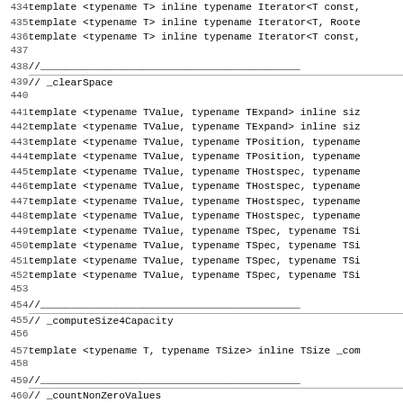434  template <typename T> inline typename Iterator<T const,
435  template <typename T> inline typename Iterator<T, Roote
436  template <typename T> inline typename Iterator<T const,
437
438  //___
439  // _clearSpace
440
441  template <typename TValue, typename TExpand> inline siz
442  template <typename TValue, typename TExpand> inline siz
443  template <typename TValue, typename TPosition, typename
444  template <typename TValue, typename TPosition, typename
445  template <typename TValue, typename THostspec, typename
446  template <typename TValue, typename THostspec, typename
447  template <typename TValue, typename THostspec, typename
448  template <typename TValue, typename THostspec, typename
449  template <typename TValue, typename TSpec, typename TSi
450  template <typename TValue, typename TSpec, typename TSi
451  template <typename TValue, typename TSpec, typename TSi
452  template <typename TValue, typename TSpec, typename TSi
453
454  //___
455  // _computeSize4Capacity
456
457  template <typename T, typename TSize> inline TSize _com
458
459  //___
460  // _countNonZeroValues
461
462  template <typename TValue, typename TSpec, typename TPo
463
464  //___
465  // _end_default
466